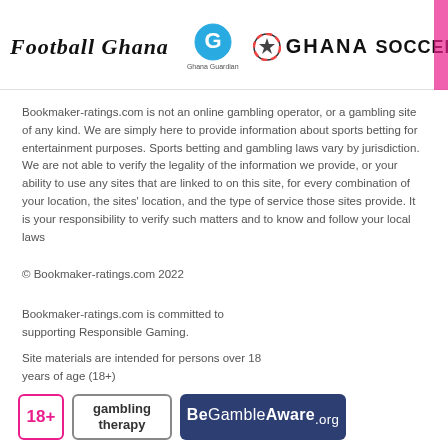Football Ghana / Ghana Guardian / GHANA SOCCERNET
Bookmaker-ratings.com is not an online gambling operator, or a gambling site of any kind. We are simply here to provide information about sports betting for entertainment purposes. Sports betting and gambling laws vary by jurisdiction. We are not able to verify the legality of the information we provide, or your ability to use any sites that are linked to on this site, for every combination of your location, the sites' location, and the type of service those sites provide. It is your responsibility to verify such matters and to know and follow your local laws
© Bookmaker-ratings.com 2022
Bookmaker-ratings.com is committed to supporting Responsible Gaming.
Site materials are intended for persons over 18 years of age (18+)
[Figure (logo): 18+ badge, Gambling Therapy badge, BeGambleAware.org badge]